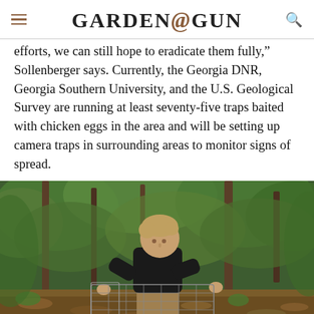GARDEN&GUN
efforts, we can still hope to eradicate them fully,” Sollenberger says. Currently, the Georgia DNR, Georgia Southern University, and the U.S. Geological Survey are running at least seventy-five traps baited with chicken eggs in the area and will be setting up camera traps in surrounding areas to monitor signs of spread.
[Figure (photo): A man in a black shirt kneeling in a wooded outdoor area, setting or examining a wire cage trap on the ground surrounded by leaves and trees.]